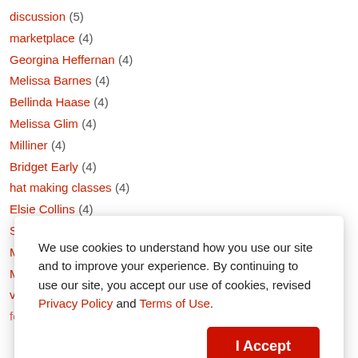discussion (5)
marketplace (4)
Georgina Heffernan (4)
Melissa Barnes (4)
Bellinda Haase (4)
Melissa Glim (4)
Milliner (4)
Bridget Early (4)
hat making classes (4)
Elsie Collins (4)
Sherilee Honnery (4)
MILLINERY (4)
Maggie Mowbray (4)
vintage hats (4)
felt hats (3)
We use cookies to understand how you use our site and to improve your experience. By continuing to use our site, you accept our use of cookies, revised Privacy Policy and Terms of Use.